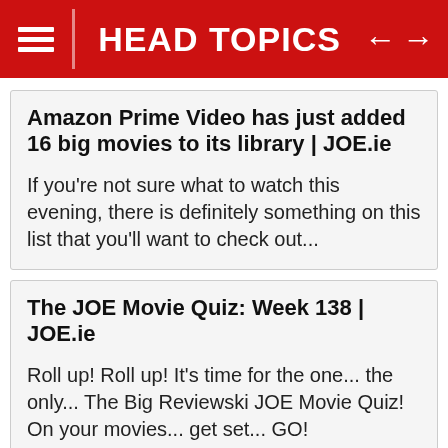HEAD TOPICS
Amazon Prime Video has just added 16 big movies to its library | JOE.ie
If you're not sure what to watch this evening, there is definitely something on this list that you'll want to check out...
The JOE Movie Quiz: Week 138 | JOE.ie
Roll up! Roll up! It's time for the one... the only... The Big Reviewski JOE Movie Quiz! On your movies... get set... GO!